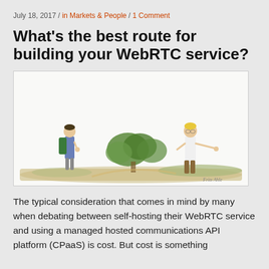July 18, 2017 / in Markets & People / 1 Comment
What’s the best route for building your WebRTC service?
[Figure (illustration): Cartoon illustration of two people at a crossroads: a hiker with a backpack on the left, and a person pointing to the right directing them, with trees and a path in the background. Signed 'Frits Ahle'.]
The typical consideration that comes in mind by many when debating between self-hosting their WebRTC service and using a managed hosted communications API platform (CPaaS) is cost. But cost is something